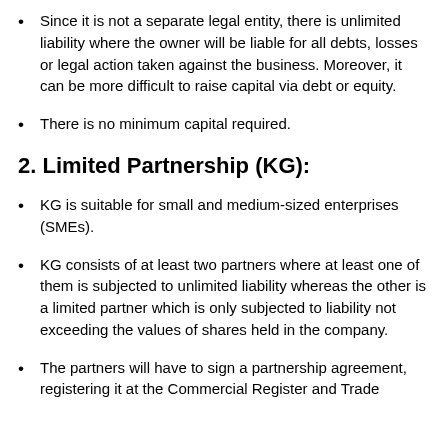Since it is not a separate legal entity, there is unlimited liability where the owner will be liable for all debts, losses or legal action taken against the business. Moreover, it can be more difficult to raise capital via debt or equity.
There is no minimum capital required.
2. Limited Partnership (KG):
KG is suitable for small and medium-sized enterprises (SMEs).
KG consists of at least two partners where at least one of them is subjected to unlimited liability whereas the other is a limited partner which is only subjected to liability not exceeding the values of shares held in the company.
The partners will have to sign a partnership agreement, registering it at the Commercial Register and Trade